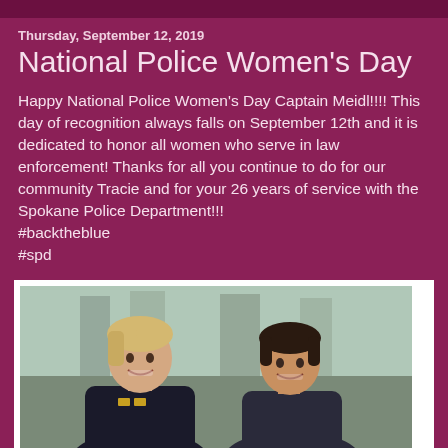Thursday, September 12, 2019
National Police Women's Day
Happy National Police Women's Day Captain Meidl!!!! This day of recognition always falls on September 12th and it is dedicated to honor all women who serve in law enforcement! Thanks for all you continue to do for our community Tracie and for your 26 years of service with the Spokane Police Department!!!
#backtheblue
#spd
[Figure (photo): Two women smiling and posing for a photo outdoors. The woman on the left has blonde hair and is wearing a dark police uniform with gold insignia. The woman on the right has short dark hair and is wearing a dark jacket.]